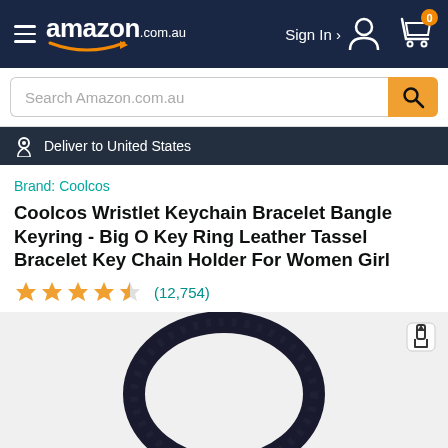amazon.com.au — Sign In — Cart 0
Search Amazon.com.au
Deliver to United States
Brand: Coolcos
Coolcos Wristlet Keychain Bracelet Bangle Keyring - Big O Key Ring Leather Tassel Bracelet Key Chain Holder For Women Girl
★★★★½ (12,754)
[Figure (photo): Dark navy/black leather bangle keychain bracelet with a gold metallic clasp connector, circular ring shape, photographed on a light grey background.]